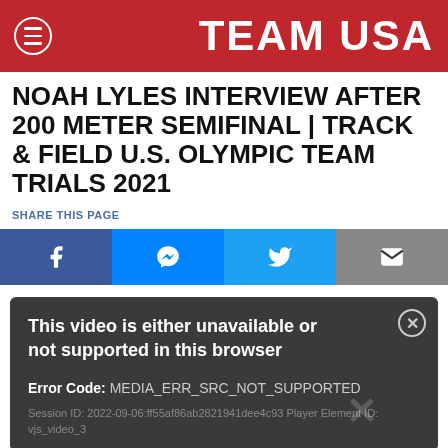TEAM USA
NOAH LYLES INTERVIEW AFTER 200 METER SEMIFINAL | TRACK & FIELD U.S. OLYMPIC TEAM TRIALS 2021
SHARE THIS PAGE
[Figure (other): Social sharing buttons: Facebook, Messenger, Twitter, Email]
[Figure (screenshot): Video player error message: 'This video is either unavailable or not supported in this browser'. Error Code: MEDIA_ERR_SRC_NOT_SUPPORTED. Session ID: 2022-09-06:ff55af86ab2821941dee4c93 Player Element ID: vjs_video_3]